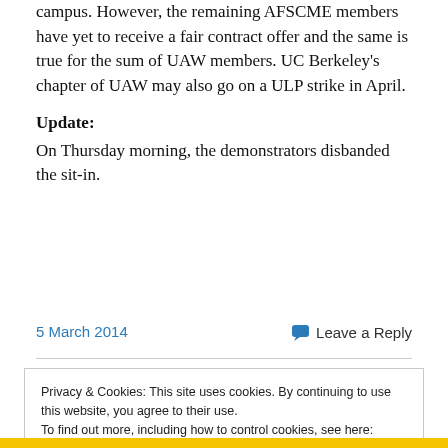campus. However, the remaining AFSCME members have yet to receive a fair contract offer and the same is true for the sum of UAW members. UC Berkeley's chapter of UAW may also go on a ULP strike in April.
Update:
On Thursday morning, the demonstrators disbanded the sit-in.
5 March 2014
Leave a Reply
Privacy & Cookies: This site uses cookies. By continuing to use this website, you agree to their use.
To find out more, including how to control cookies, see here: Cookie Policy
Close and accept